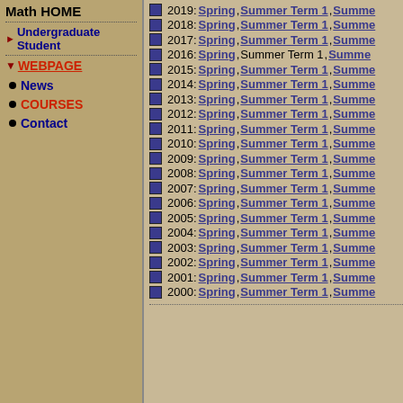Math HOME
Undergraduate Student
WEBPAGE
News
COURSES
Contact
2019: Spring, Summer Term 1, Summe...
2018: Spring, Summer Term 1, Summe...
2017: Spring, Summer Term 1, Summe...
2016: Spring, Summer Term 1, Summe...
2015: Spring, Summer Term 1, Summe...
2014: Spring, Summer Term 1, Summe...
2013: Spring, Summer Term 1, Summe...
2012: Spring, Summer Term 1, Summe...
2011: Spring, Summer Term 1, Summe...
2010: Spring, Summer Term 1, Summe...
2009: Spring, Summer Term 1, Summe...
2008: Spring, Summer Term 1, Summe...
2007: Spring, Summer Term 1, Summe...
2006: Spring, Summer Term 1, Summe...
2005: Spring, Summer Term 1, Summe...
2004: Spring, Summer Term 1, Summe...
2003: Spring, Summer Term 1, Summe...
2002: Spring, Summer Term 1, Summe...
2001: Spring, Summer Term 1, Summe...
2000: Spring, Summer Term 1, Summe...